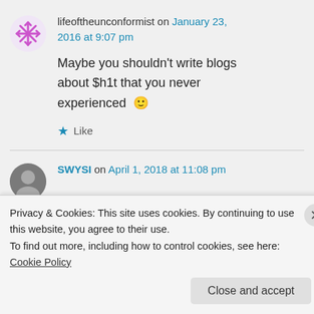lifeoftheunconformist on January 23, 2016 at 9:07 pm
Maybe you shouldn't write blogs about $h1t that you never experienced 🙂
★ Like
SWYSI on April 1, 2018 at 11:08 pm
Privacy & Cookies: This site uses cookies. By continuing to use this website, you agree to their use.
To find out more, including how to control cookies, see here: Cookie Policy